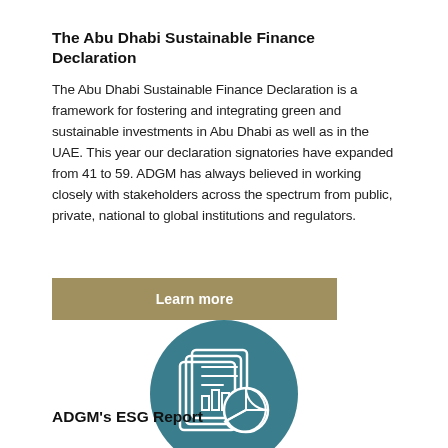The Abu Dhabi Sustainable Finance Declaration
The Abu Dhabi Sustainable Finance Declaration is a framework for fostering and integrating green and sustainable investments in Abu Dhabi as well as in the UAE. This year our declaration signatories have expanded from 41 to 59. ADGM has always believed in working closely with stakeholders across the spectrum from public, private, national to global institutions and regulators.
Learn more
[Figure (illustration): Teal circular icon containing a stylized document/report graphic with bar chart and pie chart illustrations]
ADGM's ESG Report